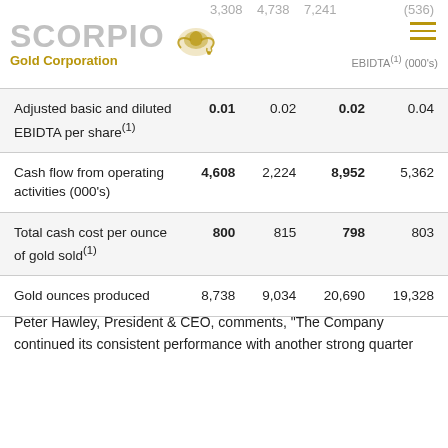SCORPIO Gold Corporation
|  | Q2 2023 | Q2 2022 | H1 2023 | H1 2022 |
| --- | --- | --- | --- | --- |
| Adjusted EBITDA(1) (000's) | (536) | 3,308 | 4,738 | 7,241 |
| Adjusted basic and diluted EBIDTA per share(1) | 0.01 | 0.02 | 0.02 | 0.04 |
| Cash flow from operating activities (000's) | 4,608 | 2,224 | 8,952 | 5,362 |
| Total cash cost per ounce of gold sold(1) | 800 | 815 | 798 | 803 |
| Gold ounces produced | 8,738 | 9,034 | 20,690 | 19,328 |
Peter Hawley, President & CEO, comments, "The Company continued its consistent performance with another strong quarter